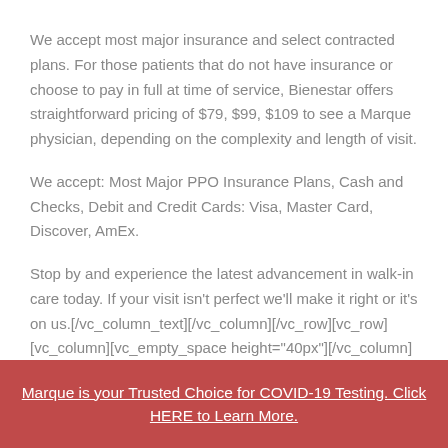We accept most major insurance and select contracted plans. For those patients that do not have insurance or choose to pay in full at time of service, Bienestar offers straightforward pricing of $79, $99, $109 to see a Marque physician, depending on the complexity and length of visit.
We accept: Most Major PPO Insurance Plans, Cash and Checks, Debit and Credit Cards: Visa, Master Card, Discover, AmEx.
Stop by and experience the latest advancement in walk-in care today. If your visit isn't perfect we'll make it right or it's on us.[/vc_column_text][/vc_column][/vc_row][vc_row][vc_column][vc_empty_space height="40px"][/vc_column]
Marque is your Trusted Choice for COVID-19 Testing. Click HERE to Learn More.